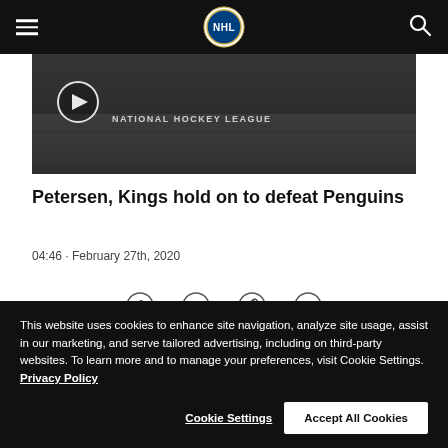NHL navigation header with hamburger menu, NHL logo, and search icon
[Figure (screenshot): NHL video thumbnail showing hockey players on ice, with play button and NATIONAL HOCKEY LEAGUE watermark]
Petersen, Kings hold on to defeat Penguins
04:46 · February 27th, 2020
[Figure (infographic): Social share icons: Facebook, Twitter, link/copy, email]
This website uses cookies to enhance site navigation, analyze site usage, assist in our marketing, and serve tailored advertising, including on third-party websites. To learn more and to manage your preferences, visit Cookie Settings. Privacy Policy
Cookie Settings | Accept All Cookies